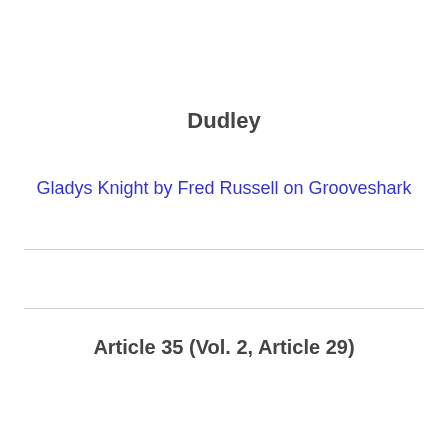Dudley
Gladys Knight by Fred Russell on Grooveshark
Article 35  (Vol. 2, Article 29)